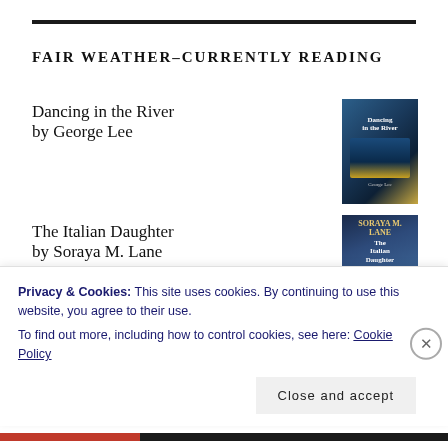FAIR WEATHER-CURRENTLY READING
Dancing in the River
by George Lee
[Figure (illustration): Book cover for Dancing in the River by George Lee - dark blue ocean/river scene with warm sunset tones]
The Italian Daughter
by Soraya M. Lane
[Figure (illustration): Book cover for The Italian Daughter by Soraya M. Lane - dark blue with mountainous landscape]
The Double Agent: A Novel
[Figure (illustration): Book cover for The Double Agent: A Novel - dark dramatic scene]
Privacy & Cookies: This site uses cookies. By continuing to use this website, you agree to their use.
To find out more, including how to control cookies, see here: Cookie Policy
Close and accept